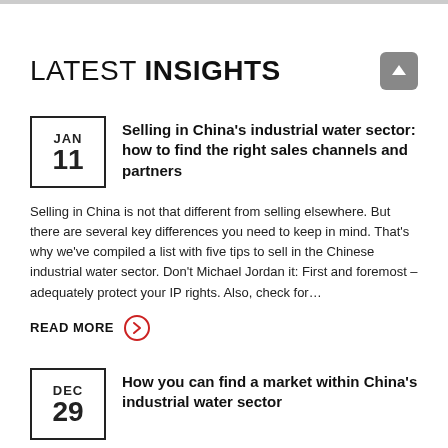LATEST INSIGHTS
JAN 11 – Selling in China's industrial water sector: how to find the right sales channels and partners
Selling in China is not that different from selling elsewhere. But there are several key differences you need to keep in mind. That's why we've compiled a list with five tips to sell in the Chinese industrial water sector. Don't Michael Jordan it: First and foremost – adequately protect your IP rights. Also, check for…
READ MORE
DEC 29 – How you can find a market within China's industrial water sector